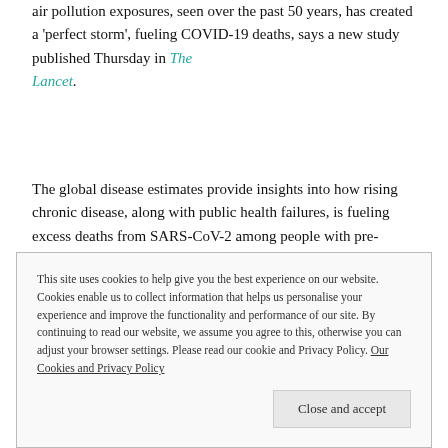air pollution exposures, seen over the past 50 years, has created a 'perfect storm', fueling COVID-19 deaths, says a new study published Thursday in The Lancet.
The global disease estimates provide insights into how rising chronic disease, along with public health failures, is fueling excess deaths from SARS-CoV-2 among people with pre-existing conditions.
This site uses cookies to help give you the best experience on our website. Cookies enable us to collect information that helps us personalise your experience and improve the functionality and performance of our site. By continuing to read our website, we assume you agree to this, otherwise you can adjust your browser settings. Please read our cookie and Privacy Policy. Our Cookies and Privacy Policy